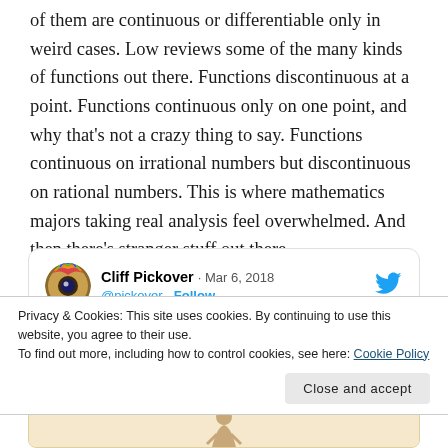of them are continuous or differentiable only in weird cases. Low reviews some of the many kinds of functions out there. Functions discontinuous at a point. Functions continuous only on one point, and why that’s not a crazy thing to say. Functions continuous on irrational numbers but discontinuous on rational numbers. This is where mathematics majors taking real analysis feel overwhelmed. And then there’s stranger stuff out there.
[Figure (screenshot): Tweet card from Cliff Pickover (@pickover) dated Mar 6, 2018 with Twitter bird logo]
Privacy & Cookies: This site uses cookies. By continuing to use this website, you agree to their use.
To find out more, including how to control cookies, see here: Cookie Policy
Close and accept